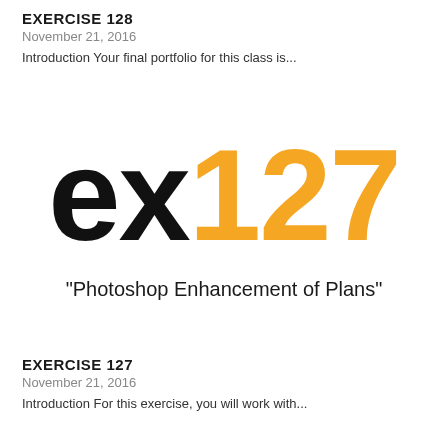EXERCISE 128
November 21, 2016
Introduction Your final portfolio for this class is...
[Figure (logo): Large bold text logo reading 'ex127' where 'ex' is in black and '127' is in orange]
“Photoshop Enhancement of Plans”
EXERCISE 127
November 21, 2016
Introduction For this exercise, you will work with...